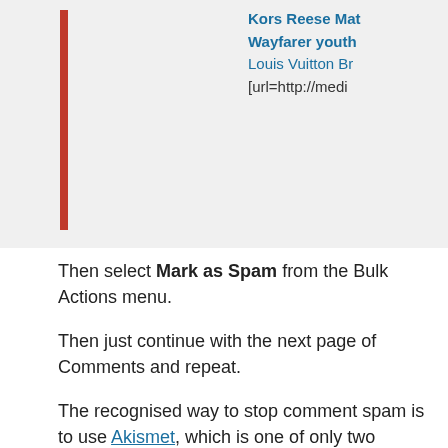[Figure (screenshot): Partial screenshot of a comment spam interface with a red vertical bar on the left and blue/teal link text on the right showing 'Kors Reese Mat...', 'Wayfarer youth...', 'Louis Vuitton Br...', '[url=http://medi...']
Then select Mark as Spam from the Bulk Actions menu.
Then just continue with the next page of Comments and repeat.
The recognised way to stop comment spam is to use Akismet, which is one of only two plugins that comes pre-installed with Wordpress. However, while effective, that requires an annual subscription.
Recently, I've found considerable success using a plug-in called Anti-Spam for Wordpress, which is free. It's relatively low-tech and in due course, if it becomes